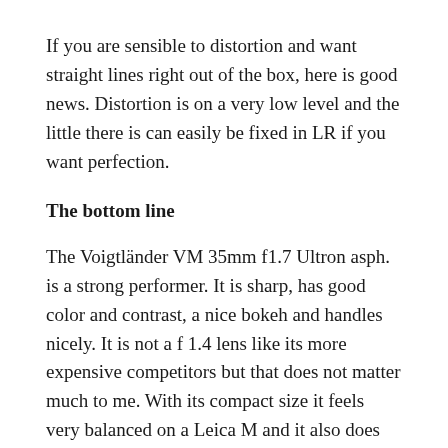If you are sensible to distortion and want straight lines right out of the box, here is good news. Distortion is on a very low level and the little there is can easily be fixed in LR if you want perfection.
The bottom line
The Voigtländer VM 35mm f1.7 Ultron asph. is a strong performer. It is sharp, has good color and contrast, a nice bokeh and handles nicely. It is not a f 1.4 lens like its more expensive competitors but that does not matter much to me. With its compact size it feels very balanced on a Leica M and it also does not block the view